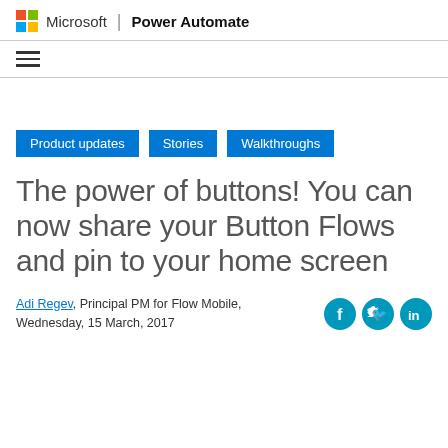Microsoft | Power Automate
[Figure (logo): Microsoft four-color logo squares followed by 'Microsoft' text, divider, 'Power Automate' bold text]
[Figure (infographic): Hamburger menu icon (three horizontal lines)]
Product updates   Stories   Walkthroughs
The power of buttons! You can now share your Button Flows and pin to your home screen
Adi Regev, Principal PM for Flow Mobile, Wednesday, 15 March, 2017